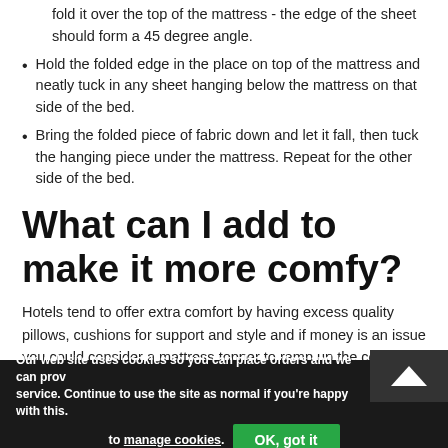fold it over the top of the mattress - the edge of the sheet should form a 45 degree angle.
Hold the folded edge in the place on top of the mattress and neatly tuck in any sheet hanging below the mattress on that side of the bed.
Bring the folded piece of fabric down and let it fall, then tuck the hanging piece under the mattress. Repeat for the other side of the bed.
What can I add to make it more comfy?
Hotels tend to offer extra comfort by having excess quality pillows, cushions for support and style and if money is an issue you could consider a mattress topper to ramp up the comfort costing less than replacing the mattress.
Does a footboard hinder making
Our web site uses cookies so you can place orders and we can provide a better service. Continue to use the site as normal if you're happy with this.
to manage cookies.